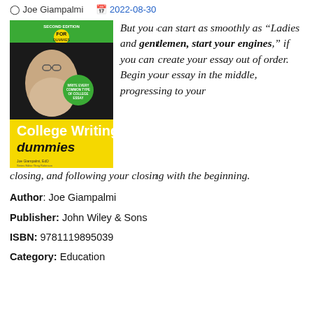Joe Giampalmi  2022-08-30
[Figure (illustration): Book cover of 'College Writing for Dummies' by Joe Giampalmi, EdD. Black, green, and yellow cover with a photo of a woman studying.]
But you can start as smoothly as "Ladies and gentlemen, start your engines," if you can create your essay out of order. Begin your essay in the middle, progressing to your closing, and following your closing with the beginning.
Author: Joe Giampalmi
Publisher: John Wiley & Sons
ISBN: 9781119895039
Category: Education